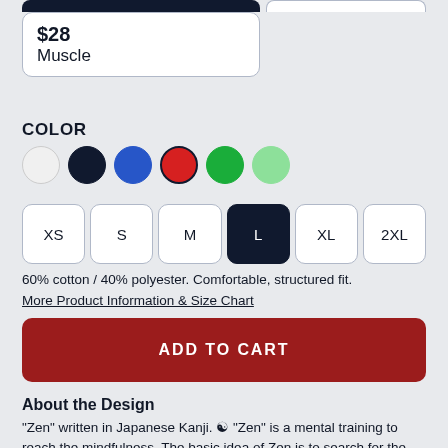$28
Muscle
COLOR
Color swatches: white, navy, blue, red (selected), green, light green
Size options: XS, S, M, L (selected), XL, 2XL
60% cotton / 40% polyester. Comfortable, structured fit.
More Product Information & Size Chart
ADD TO CART
About the Design
"Zen" written in Japanese Kanji. ☯ "Zen" is a mental training to reach the mindfulness. The basic idea of Zen is to search for the